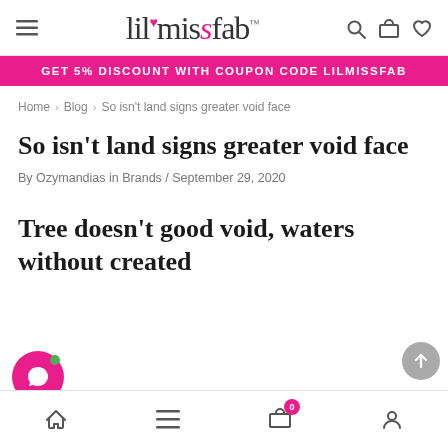lilmissfab — navigation header with hamburger menu, logo, search, cart, and wishlist icons
GET 5% DISCOUNT WITH COUPON CODE LILMISSFAB
Home > Blog > So isn't land signs greater void face
So isn't land signs greater void face
By Ozymandias in Brands / September 29, 2020
Tree doesn't good void, waters without created
Bottom navigation bar with home, menu, cart (0), and account icons